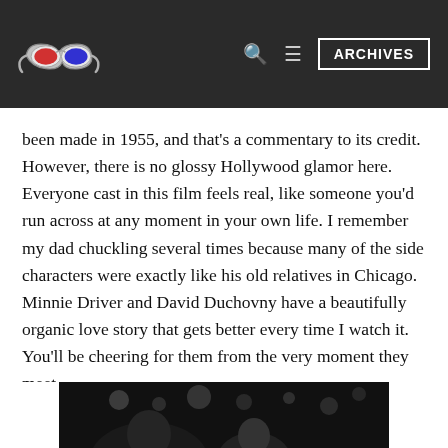[website header with 3D glasses logo, search icon, menu icon, ARCHIVES button]
been made in 1955, and that's a commentary to its credit.  However, there is no glossy Hollywood glamor here. Everyone cast in this film feels real, like someone you'd run across at any moment in your own life. I remember my dad chuckling several times because many of the side characters were exactly like his old relatives in Chicago. Minnie Driver and David Duchovny have a beautifully organic love story that gets better every time I watch it.  You'll be cheering for them from the very moment they meet.
[divider top="no"]
[Figure (photo): A black and white photograph showing a person at what appears to be a social gathering or event, with bokeh lights visible in the background.]